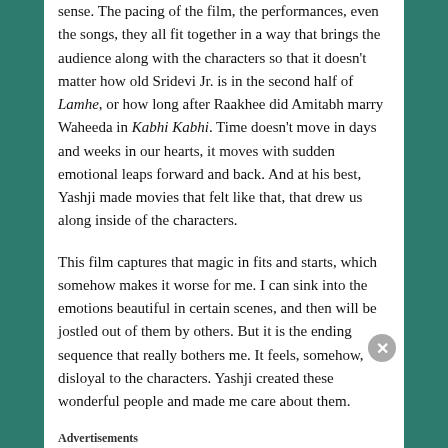sense. The pacing of the film, the performances, even the songs, they all fit together in a way that brings the audience along with the characters so that it doesn't matter how old Sridevi Jr. is in the second half of Lamhe, or how long after Raakhee did Amitabh marry Waheeda in Kabhi Kabhi. Time doesn't move in days and weeks in our hearts, it moves with sudden emotional leaps forward and back. And at his best, Yashji made movies that felt like that, that drew us along inside of the characters.
This film captures that magic in fits and starts, which somehow makes it worse for me. I can sink into the emotions beautiful in certain scenes, and then will be jostled out of them by others. But it is the ending sequence that really bothers me. It feels, somehow, disloyal to the characters. Yashji created these wonderful people and made me care about them.
Advertisements
[Figure (photo): Advertisement banner for Macy's lipstick product. Red background with woman's face and lips. Text reads KISS BORING LIPS GOODBYE with SHOP NOW button and Macy's star logo.]